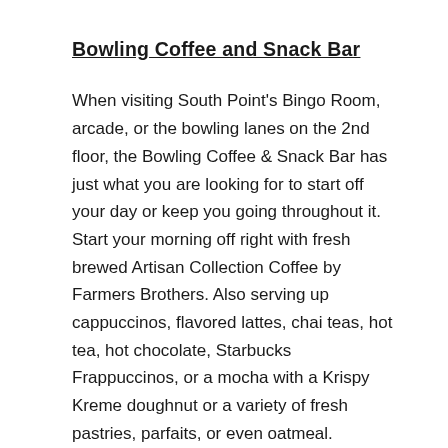Bowling Coffee and Snack Bar
When visiting South Point's Bingo Room, arcade, or the bowling lanes on the 2nd floor, the Bowling Coffee & Snack Bar has just what you are looking for to start off your day or keep you going throughout it. Start your morning off right with fresh brewed Artisan Collection Coffee by Farmers Brothers. Also serving up cappuccinos, flavored lattes, chai teas, hot tea, hot chocolate, Starbucks Frappuccinos, or a mocha with a Krispy Kreme doughnut or a variety of fresh pastries, parfaits, or even oatmeal. Chicken fingers, wings, French fries, nachos, or a Caesar salad for a quick lunch or snack. You can also order our delicious pizza by the slice or whole pie.